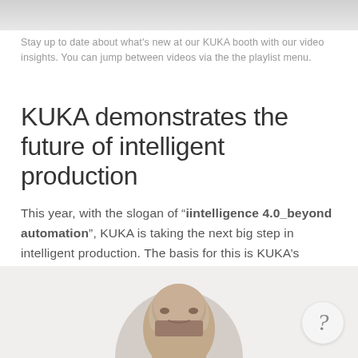Stay up to date about what's new at our KUKA booth with our video insights. You can jump between videos via the the playlist menu.
KUKA demonstrates the future of intelligent production
This year, with the slogan of “iintelligence 4.0_beyond automation”, KUKA is taking the next big step in intelligent production. The basis for this is KUKA’s automation expertise, which has expanded to embrace new technologies:
[Figure (photo): Circular cropped photo of a man's face/head at the bottom of the page, with a grey circle background]